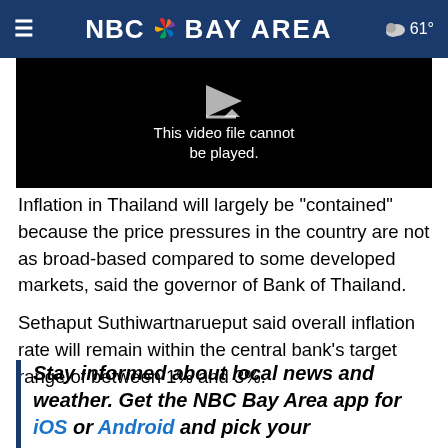NBC Bay Area — 61°
[Figure (screenshot): Black video player area with text 'This video file cannot be played' and a play/download arrow icon]
Inflation in Thailand will largely be "contained" because the price pressures in the country are not as broad-based compared to some developed markets, said the governor of Bank of Thailand.
Sethaput Suthiwartnarueput said overall inflation rate will remain within the central bank's target range of between 1% and 3%.
Stay informed about local news and weather. Get the NBC Bay Area app for iOS or Android and pick your